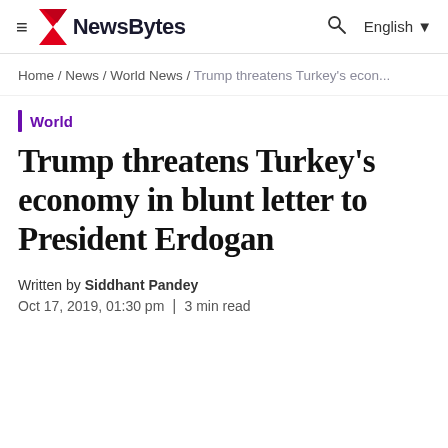NewsBytes — English
Home / News / World News / Trump threatens Turkey's econ...
World
Trump threatens Turkey's economy in blunt letter to President Erdogan
Written by Siddhant Pandey
Oct 17, 2019, 01:30 pm | 3 min read